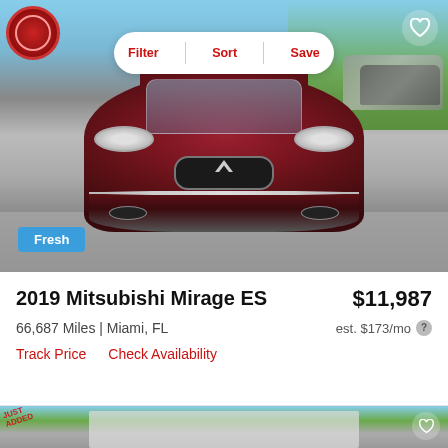[Figure (photo): Front view of a dark red/maroon 2019 Mitsubishi Mirage ES in a car lot. A dealer badge is visible in the top-left corner. A 'Fresh' label badge is in the bottom-left. Filter/Sort/Save toolbar at top center, heart/favorite icon top right.]
2019 Mitsubishi Mirage ES
$11,987
66,687 Miles | Miami, FL
est. $173/mo
Track Price   Check Availability
[Figure (photo): Partial view of a second car listing below, showing a car lot scene with a 'JUST ADDED' dealer badge and heart icon, partially visible car in lighter background.]